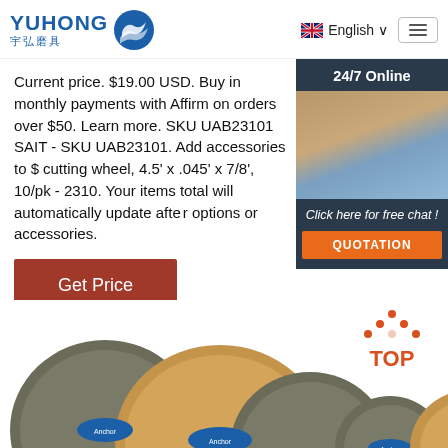[Figure (logo): Yuhong logo with blue wave graphic and Chinese text 宇弘磨具]
English
Current price. $19.00 USD. Buy in monthly payments with Affirm on orders over $50. Learn more. SKU UAB23101 SAIT - SKU UAB23101. Add accessories to cutting wheel, 4.5' x .045' x 7/8', 10/pk - 2310. Your items total will automatically update after options or accessories.
Get Price
[Figure (infographic): 24/7 Online chat widget with customer service representative photo and QUOTATION button]
[Figure (photo): Multiple grinding/cutting wheels (Anchor brand) stacked together on white background, with TOP button icon]